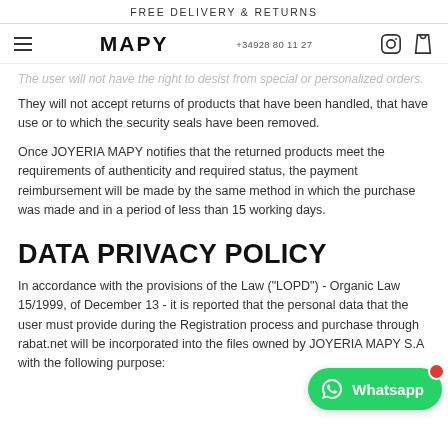FREE DELIVERY & RETURNS
[Figure (screenshot): Navigation bar with hamburger menu, MAPY logo, phone number +34928 80 11 27, Instagram icon, and shopping bag icon]
The user will not have the right to desist from special or personalized orders.
They will not accept returns of products that have been handled, that have use or to which the security seals have been removed.
Once JOYERIA MAPY notifies that the returned products meet the requirements of authenticity and required status, the payment reimbursement will be made by the same method in which the purchase was made and in a period of less than 15 working days.
DATA PRIVACY POLICY
In accordance with the provisions of the Law ("LOPD") - Organic Law 15/1999, of December 13 - it is reported that the personal data that the user must provide during the Registration process and purchase through rabat.net will be incorporated into the files owned by JOYERIA MAPY S.A with the following purpose: